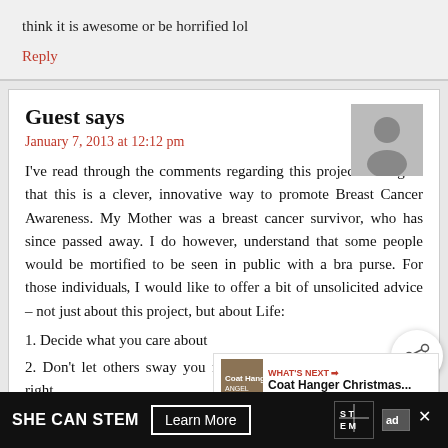think it is awesome or be horrified lol
Reply
Guest says
January 7, 2013 at 12:12 pm
I've read through the comments regarding this project and agree that this is a clever, innovative way to promote Breast Cancer Awareness. My Mother was a breast cancer survivor, who has since passed away. I do however, understand that some people would be mortified to be seen in public with a bra purse. For those individuals, I would like to offer a bit of unsolicited advice – not just about this project, but about Life:
1. Decide what you care about
2. Don't let others sway you from what your heart tells you is right
SHE CAN STEM  Learn More